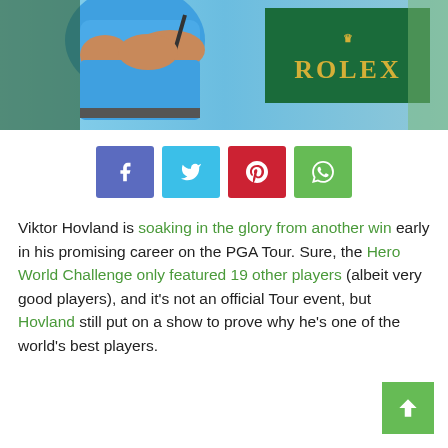[Figure (photo): Golfer in blue shirt swinging a club in front of a green Rolex advertisement banner]
[Figure (infographic): Social share buttons: Facebook (blue), Twitter (light blue), Pinterest (red), WhatsApp (green)]
Viktor Hovland is soaking in the glory from another win early in his promising career on the PGA Tour. Sure, the Hero World Challenge only featured 19 other players (albeit very good players), and it's not an official Tour event, but Hovland still put on a show to prove why he's one of the world's best players.